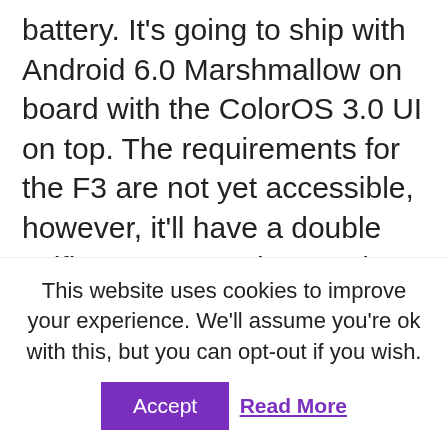battery. It's going to ship with Android 6.0 Marshmallow on board with the ColorOS 3.0 UI on top. The requirements for the F3 are not yet accessible, however, it'll have a double selfie camera as the F3 Plus. And so the mix of a comparatively high-performance central processing unit, a big screen, a double detector selfie camera set up as well as a 4000 mAh battery ensures that the OPPO F3 might be an interesting proposal.

It'll be fascinating to see just how much smaller the F3 will undoubtedly be when compared to the F3 Plus Also if the latter has a
This website uses cookies to improve your experience. We'll assume you're ok with this, but you can opt-out if you wish.